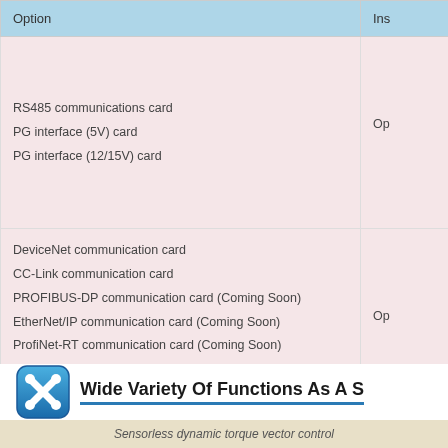| Option | Installation |
| --- | --- |
| RS485 communications card
PG interface (5V) card
PG interface (12/15V) card | Op... |
| DeviceNet communication card
CC-Link communication card
PROFIBUS-DP communication card (Coming Soon)
EtherNet/IP communication card (Coming Soon)
ProfiNet-RT communication card (Coming Soon)
CANopen communication card (Coming Soon)
Digital input/output interface card
Analog input/output interface card | Op... |
Wide Variety Of Functions As A S
Sensorless dynamic torque vector control